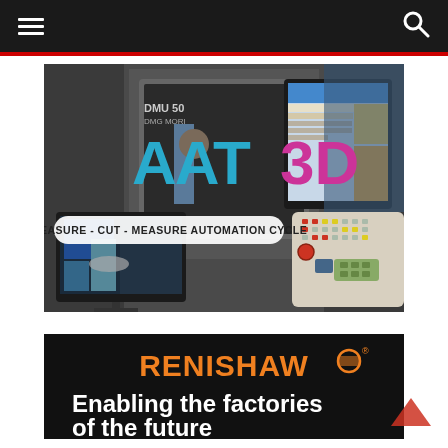Navigation header with menu and search icons
[Figure (photo): AAT3D advertisement showing a DMU 50 CNC machine with a control panel and monitor displaying CAM software. Large text overlay reads 'AAT3D' and a banner reads 'MEASURE - CUT - MEASURE AUTOMATION CYCLE']
[Figure (photo): Renishaw advertisement with dark background. Orange text reads 'RENISHAW' with logo. White bold text reads 'Enabling the factories of the future']